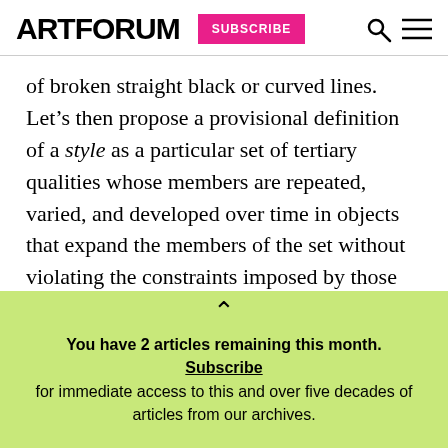ARTFORUM  SUBSCRIBE
of broken straight black or curved lines. Let’s then propose a provisional definition of a style as a particular set of tertiary qualities whose members are repeated, varied, and developed over time in objects that expand the members of the set without violating the constraints imposed by those tertiary qualities themselves—that generate, for example, a wide and developing variety of black-and-white-striped material, or rectangular brick construction
You have 2 articles remaining this month. Subscribe for immediate access to this and over five decades of articles from our archives.